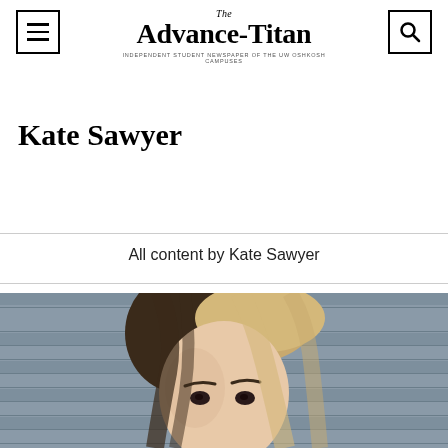The Advance-Titan — Independent student newspaper of the UW Oshkosh campuses
Kate Sawyer
All content by Kate Sawyer
[Figure (photo): Close-up portrait photograph of a young woman with blonde highlighted hair against a grey siding background]